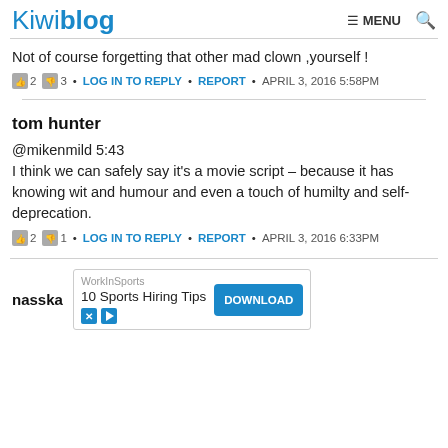Kiwiblog  ☰ MENU  🔍
Not of course forgetting that other mad clown ,yourself !
👍 2 👎 3 • LOG IN TO REPLY • REPORT • APRIL 3, 2016 5:58PM
tom hunter
@mikenmild 5:43
I think we can safely say it's a movie script – because it has knowing wit and humour and even a touch of humilty and self-deprecation.
👍 2 👎 1 • LOG IN TO REPLY • REPORT • APRIL 3, 2016 6:33PM
nasska
[Figure (screenshot): Advertisement banner: WorkInSports - 10 Sports Hiring Tips with DOWNLOAD button]